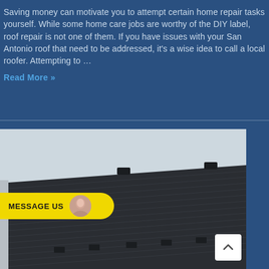Saving money can motivate you to attempt certain home repair tasks yourself. While some home care jobs are worthy of the DIY label, roof repair is not one of them. If you have issues with your San Antonio roof that need to be addressed, it's a wise idea to call a local roofer. Attempting to …
Read More »
[Figure (photo): Photo of a dark metal roof with ridges and vents, photographed from below against a light overcast sky. A yellow 'MESSAGE US' button with a woman's avatar photo appears overlaid on the left side of the image. A white scroll-to-top button with an upward chevron appears in the lower right.]